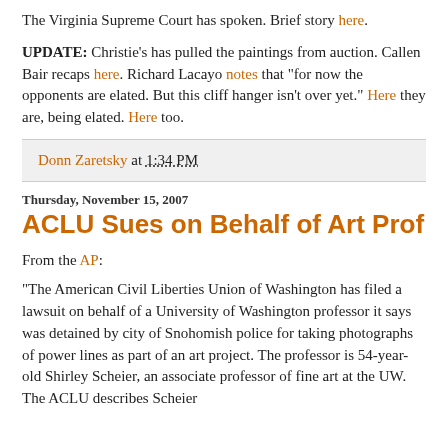The Virginia Supreme Court has spoken. Brief story here.
UPDATE: Christie's has pulled the paintings from auction. Callen Bair recaps here. Richard Lacayo notes that "for now the opponents are elated. But this cliff hanger isn't over yet." Here they are, being elated. Here too.
Donn Zaretsky at 1:34 PM
Thursday, November 15, 2007
ACLU Sues on Behalf of Art Prof
From the AP:
"The American Civil Liberties Union of Washington has filed a lawsuit on behalf of a University of Washington professor it says was detained by city of Snohomish police for taking photographs of power lines as part of an art project. The professor is 54-year-old Shirley Scheier, an associate professor of fine art at the UW. The ACLU describes Scheier